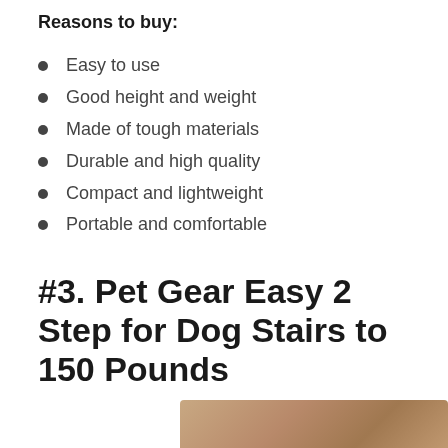Reasons to buy:
Easy to use
Good height and weight
Made of tough materials
Durable and high quality
Compact and lightweight
Portable and comfortable
#3. Pet Gear Easy 2 Step for Dog Stairs to 150 Pounds
[Figure (photo): Partial photo of a dog at bottom of page]